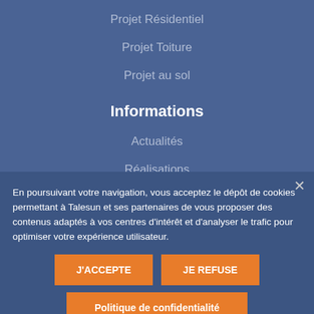Projet Résidentiel
Projet Toiture
Projet au sol
Informations
Actualités
Réalisations
Nous contacter
En poursuivant votre navigation, vous acceptez le dépôt de cookies permettant à Talesun et ses partenaires de vous proposer des contenus adaptés à vos centres d'intérêt et d'analyser le trafic pour optimiser votre expérience utilisateur.
J'ACCEPTE
JE REFUSE
Politique de confidentialité